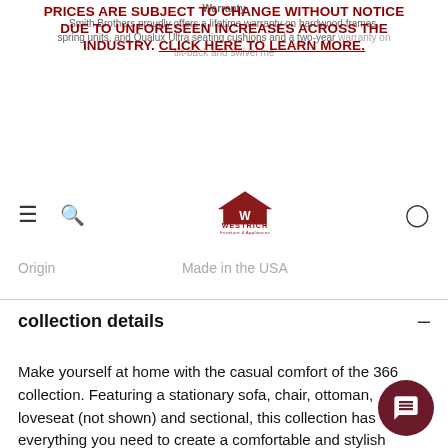PRICES ARE SUBJECT TO CHANGE WITHOUT NOTICE DUE TO UNFORESEEN INCREASES ACROSS THE INDUSTRY. CLICK HERE TO LEARN MORE.
Warranty
Smith Brothers proudly offers a lifetime warranty on hardwood frames, spring units, and Qualux Ultra seating cushions and a two-year warranty on tilt-back and swivel mechanisms.
[Figure (logo): Westrich Furniture & Appliances logo with house icon]
| Origin | Made in the USA |
| --- | --- |
collection details
Make yourself at home with the casual comfort of the 366 collection. Featuring a stationary sofa, chair, ottoman, loveseat (not shown) and sectional, this collection has everything you need to create a comfortable and stylish lounge ensemble. With each item flanked by rolled arms and raised on tapered wood legs, this collection exudes a casual style with a s contemporary flair. Perfect for your living room entertainment area, the 366 collection will be a family favorite for years to come.